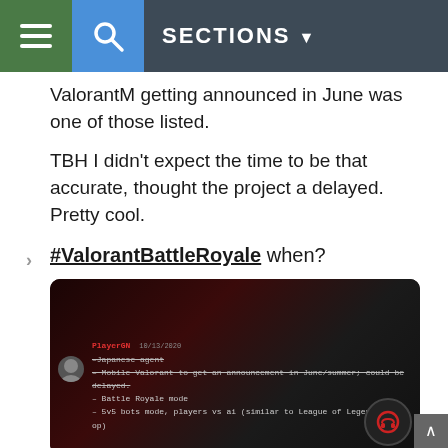SECTIONS
ValorantM getting announced in June was one of those listed.
TBH I didn't expect the time to be that accurate, thought the project a delayed. Pretty cool.
#ValorantBattleRoyale when?
[Figure (screenshot): Screenshot of a social media post by PlayerGN dated 10/13/2020. The post contains strikethrough text listing: Japanese agent, Mobile Valorant to get an announcement in June/summer; could be delayed, Battle Royale mode, 5v5 bots mode, players vs ai (similar to League of Legends' co-op)]